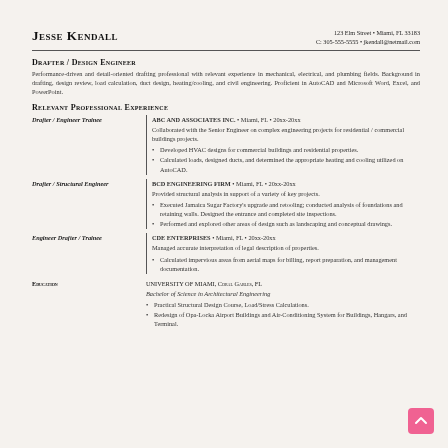Jesse Kendall
123 Elm Street • Miami, FL 33183
C: 305-555-5555 • jkendall@netmail.com
Drafter / Design Engineer
Performance-driven and detail-oriented drafting professional with relevant experience in mechanical, electrical, and plumbing fields. Background in drafting, design review, load calculation, duct design, heating/cooling, and civil engineering. Proficient in AutoCAD and Microsoft Word, Excel, and PowerPoint.
Relevant Professional Experience
Drafter / Engineer Trainee
ABC AND ASSOCIATES INC. • Miami, FL • 20xx-20xx
Collaborated with the Senior Engineer on complex engineering projects for residential / commercial buildings projects.
Developed HVAC designs for commercial buildings and residential properties.
Calculated loads, designed ducts, and determined the appropriate heating and cooling utilized on AutoCAD.
Drafter / Structural Engineer
BCD ENGINEERING FIRM • Miami, FL • 20xx-20xx
Provided structural analysis in support of a variety of key projects.
Executed Jamaica Sugar Factory's upgrade and retooling; conducted analysis of foundations and retaining walls. Designed the entrance and completed site inspections.
Performed and explored other areas of design such as landscaping and conceptual drawings.
Engineer Drafter / Trainee
CDE ENTERPRISES • Miami, FL • 20xx-20xx
Managed accurate interpretation of legal description of properties.
Calculated impervious areas from aerial maps for billing, report preparation, and management documentation.
Education
UNIVERSITY OF MIAMI, Coral Gables, FL
Bachelor of Science in Architectural Engineering
Practical Structural Design Course, Load/Stress Calculations.
Redesign of Opa-Locka Airport Buildings and Air-Conditioning System for Buildings, Hangars, and Terminal.